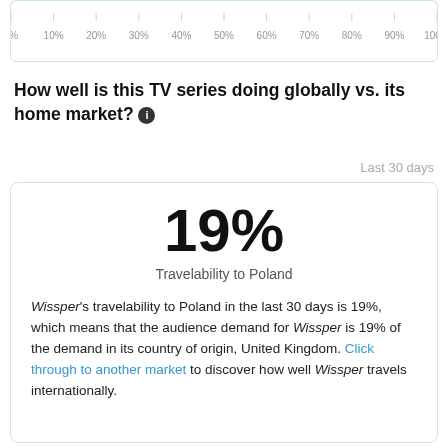[Figure (other): Partial horizontal bar chart showing percentage axis from 0% to 100% with tick marks at every 10%]
How well is this TV series doing globally vs. its home market? ℹ
Last 30 days
19%
Travelability to Poland
Wissper's travelability to Poland in the last 30 days is 19%, which means that the audience demand for Wissper is 19% of the demand in its country of origin, United Kingdom. Click through to another market to discover how well Wissper travels internationally.